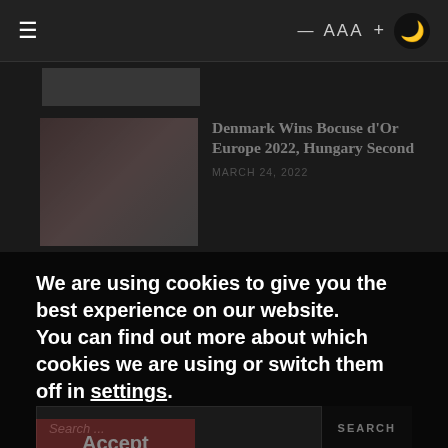≡  — AAA + 🌙
[Figure (screenshot): Thumbnail image fragment at top left, partially visible]
Denmark Wins Bocuse d'Or Europe 2022, Hungary Second
MARCH 24, 2022
We are using cookies to give you the best experience on our website.
You can find out more about which cookies we are using or switch them off in settings.
Accept
Search ...
ARTICLES BY DATE
► 2022 (754)
► 2021 (941)
► 2020 (899)
► 2019 (237)